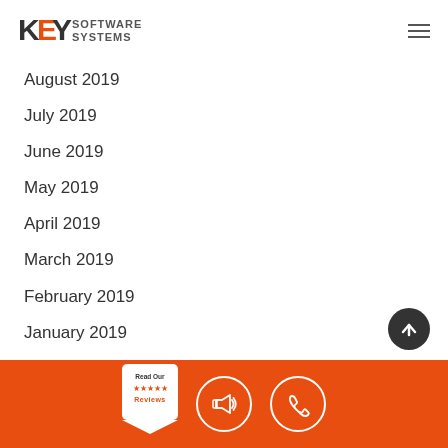KEY SOFTWARE SYSTEMS
August 2019
July 2019
June 2019
May 2019
April 2019
March 2019
February 2019
January 2019
December 2018
November 2018
Read Our Reviews | Megaphone icon | Phone icon